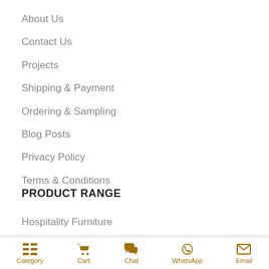About Us
Contact Us
Projects
Shipping & Payment
Ordering & Sampling
Blog Posts
Privacy Policy
Terms & Conditions
PRODUCT RANGE
Hospitality Furniture
Category  Cart  Chat  WhatsApp  Email